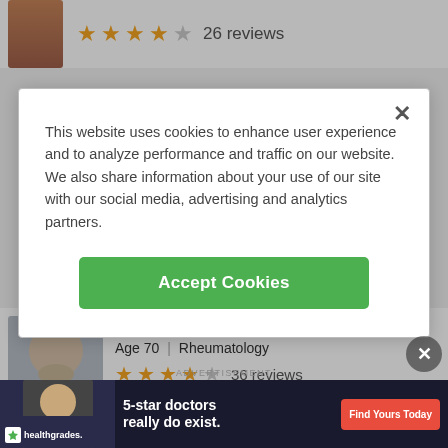[Figure (screenshot): Partial doctor profile with star rating showing 4 out of 5 stars and 26 reviews at the top of the page]
This website uses cookies to enhance user experience and to analyze performance and traffic on our website. We also share information about your use of our site with our social media, advertising and analytics partners.
Accept Cookies
Dr. James Esther, MD
Age 70 | Rheumatology
[Figure (screenshot): Doctor profile photo of Dr. James Esther, MD showing an older male doctor in a white coat]
36 reviews
226 S Woods Mill Rd Ste 43
ADVERTISEMENT
[Figure (infographic): Healthgrades advertisement banner with text '5-star doctors really do exist.' and 'Find Yours Today' button]